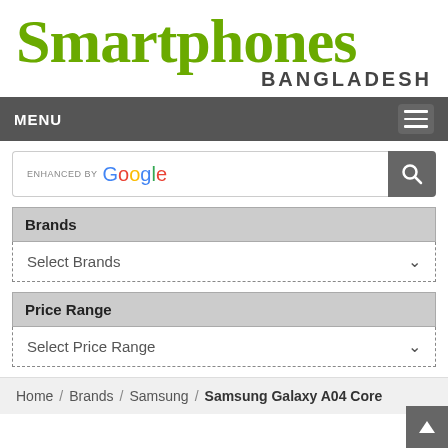[Figure (logo): Smartphones Bangladesh logo with large green serif text and dark bold BANGLADESH subtitle]
MENU
ENHANCED BY Google
Brands
Select Brands
Price Range
Select Price Range
Home / Brands / Samsung / Samsung Galaxy A04 Core